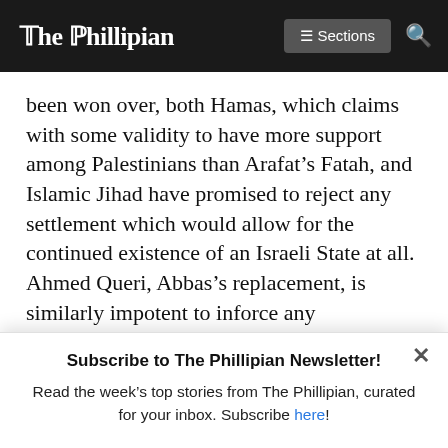The Phillipian — Sections (menu button) and search icon
been won over, both Hamas, which claims with some validity to have more support among Palestinians than Arafat's Fatah, and Islamic Jihad have promised to reject any settlement which would allow for the continued existence of an Israeli State at all. Ahmed Queri, Abbas's replacement, is similarly impotent to inforce any agreements. Sharon, who has made statements voicing his
Subscribe to The Phillipian Newsletter!
Read the week's top stories from The Phillipian, curated for your inbox. Subscribe here!